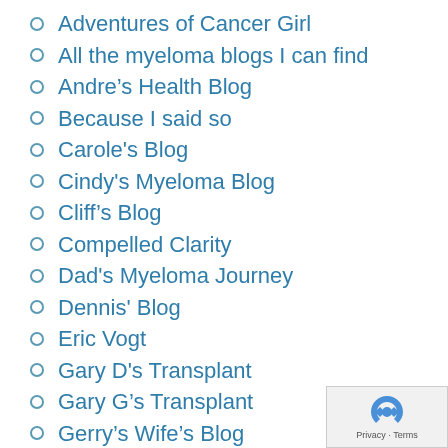Adventures of Cancer Girl
All the myeloma blogs I can find
Andre’s Health Blog
Because I said so
Carole's Blog
Cindy's Myeloma Blog
Cliff’s Blog
Compelled Clarity
Dad's Myeloma Journey
Dennis' Blog
Eric Vogt
Gary D's Transplant
Gary G’s Transplant
Gerry’s Wife’s Blog
HealthBlogs